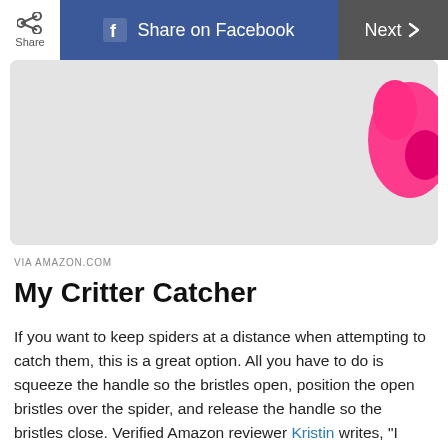Share | Share on Facebook | Next
[Figure (photo): Product image area with pink critter catcher device visible in upper right corner on light gray background]
VIA AMAZON.COM
My Critter Catcher
If you want to keep spiders at a distance when attempting to catch them, this is a great option. All you have to do is squeeze the handle so the bristles open, position the open bristles over the spider, and release the handle so the bristles close. Verified Amazon reviewer Kristin writes, “I never intend on hurting [a spider], but sometimes lightly